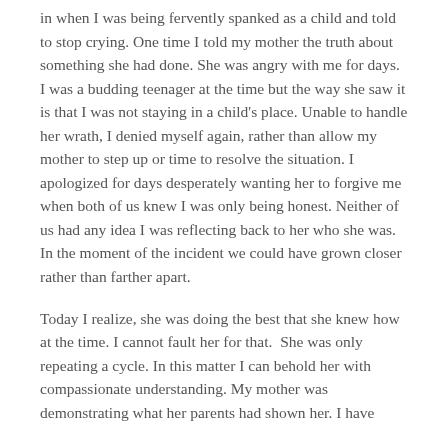in when I was being fervently spanked as a child and told to stop crying. One time I told my mother the truth about something she had done. She was angry with me for days. I was a budding teenager at the time but the way she saw it is that I was not staying in a child's place. Unable to handle her wrath, I denied myself again, rather than allow my mother to step up or time to resolve the situation. I apologized for days desperately wanting her to forgive me when both of us knew I was only being honest. Neither of us had any idea I was reflecting back to her who she was. In the moment of the incident we could have grown closer rather than farther apart.
Today I realize, she was doing the best that she knew how at the time. I cannot fault her for that. She was only repeating a cycle. In this matter I can behold her with compassionate understanding. My mother was demonstrating what her parents had shown her. I have